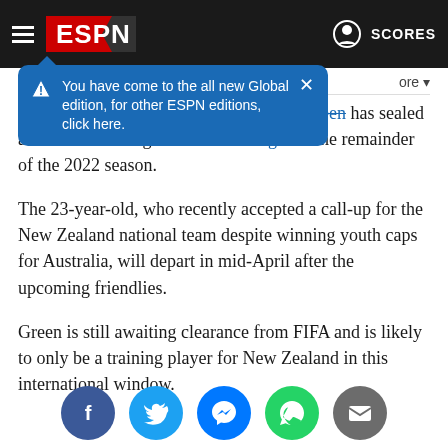ESPN
You have come to the all new Global edition, for other ESPN editions, click here.
Meanwhile, Sydney FC full-back Amy Green has sealed a move to Norwegian club Valerenga for the remainder of the 2022 season.
The 23-year-old, who recently accepted a call-up for the New Zealand national team despite winning youth caps for Australia, will depart in mid-April after the upcoming friendlies.
Green is still awaiting clearance from FIFA and is likely to only be a training player for New Zealand in this international window.
[Figure (infographic): Social media share icons row: Facebook (blue circle), Twitter (light blue circle), Messenger (blue circle), WhatsApp (green circle), Email (grey circle)]